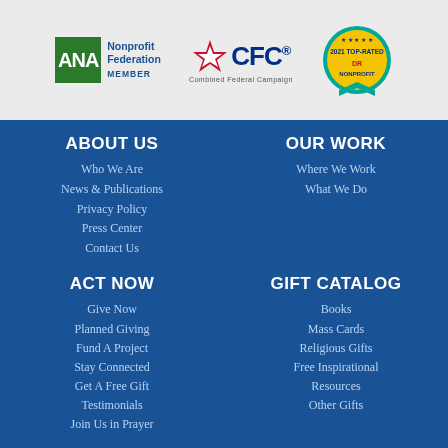[Figure (logo): ANA Nonprofit Federation Member logo, CFC Combined Federal Campaign logo, and 2021 Top-Rated Nonprofit badge]
ABOUT US
Who We Are
News & Publications
Privacy Policy
Press Center
Contact Us
OUR WORK
Where We Work
What We Do
ACT NOW
Give Now
Planned Giving
Fund A Project
Stay Connected
Get A Free Gift
Testimonials
Join Us in Prayer
GIFT CATALOG
Books
Mass Cards
Religious Gifts
Free Inspirational Resources
Other Gifts